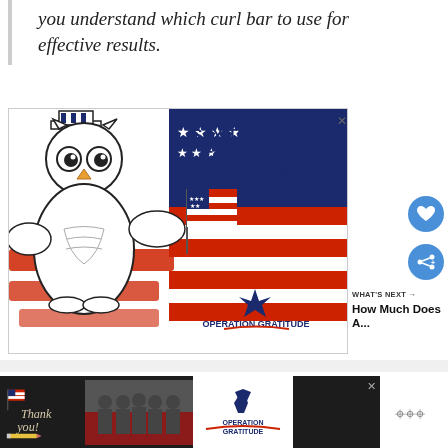you understand which curl bar to use for effective results.
[Figure (illustration): Operation Gratitude advertisement banner. Features a cartoon owl wearing Uncle Sam hat holding an American flag, against a patriotic red/white/blue background. Text reads 'SAY THANK YOU TO DEPLOYED TROOPS' and 'OPERATION GRATITUDE' logo at bottom right. Close X button in top right corner.]
[Figure (illustration): Social interaction buttons: heart (like) button and share button, both blue circles, on the right side of the page.]
WHAT'S NEXT → How Much Does A...
[Figure (illustration): Operation Gratitude bottom banner advertisement on dark background. Shows 'Thank you!' handwritten text with pencil, group photo of people in uniform, and Operation Gratitude logo. Close X button top right.]